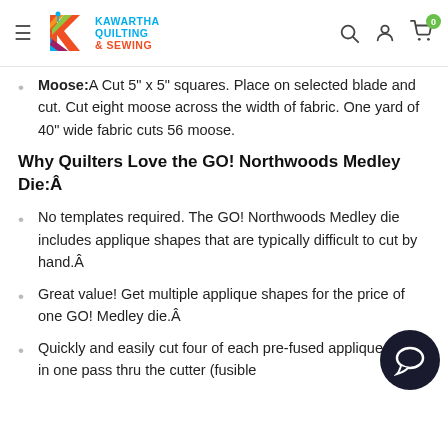Kawartha Quilting & Sewing — navigation header with logo, search, account, cart icons
Moose: A Cut 5" x 5" squares. Place on selected blade and cut. Cut eight moose across the width of fabric. One yard of 40" wide fabric cuts 56 moose.
Why Quilters Love the GO! Northwoods Medley Die:Â
No templates required. The GO! Northwoods Medley die includes applique shapes that are typically difficult to cut by hand.Â
Great value! Get multiple applique shapes for the price of one GO! Medley die.Â
Quickly and easily cut four of each pre-fused applique shape in one pass thru the cutter (fusible